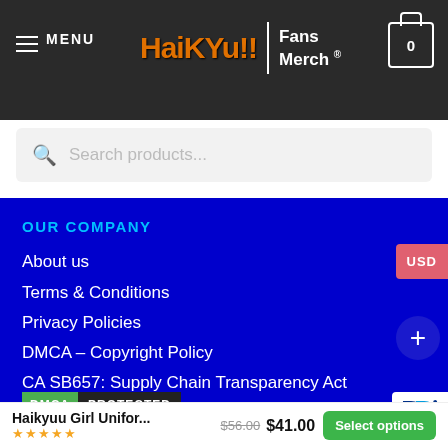MENU | HaiKyuu!! Fans Merch ® | Cart: 0
Search products...
OUR COMPANY
About us
Terms & Conditions
Privacy Policies
DMCA – Copyright Policy
CA SB657: Supply Chain Transparency Act
[Figure (logo): DMCA PROTECTED badge]
Haikyuu Girl Unifor... ★★★★★ $56.00 $41.00 Select options